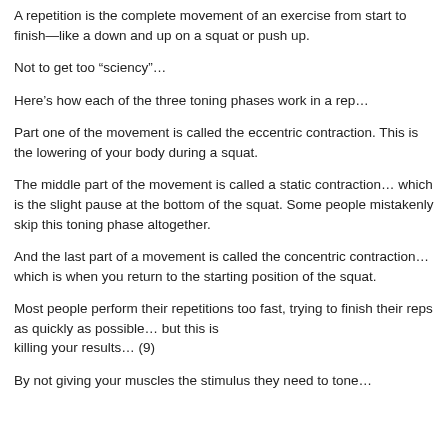A repetition is the complete movement of an exercise from start to finish—like a down and up on a squat or push up.
Not to get too “sciency”…
Here’s how each of the three toning phases work in a rep…
Part one of the movement is called the eccentric contraction. This is the lowering of your body during a squat.
The middle part of the movement is called a static contraction… which is the slight pause at the bottom of the squat. Some people mistakenly skip this toning phase altogether.
And the last part of a movement is called the concentric contraction… which is when you return to the starting position of the squat.
Most people perform their repetitions too fast, trying to finish their reps as quickly as possible… but this is killing your results… (9)
By not giving your muscles the stimulus they need to tone…